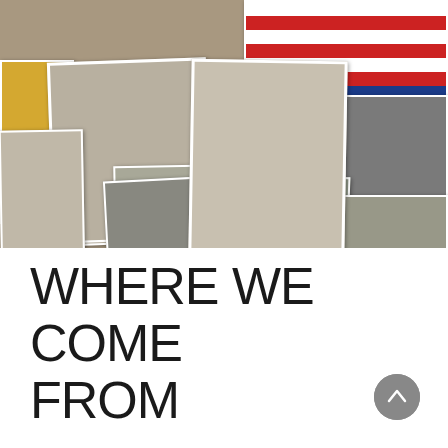[Figure (photo): A collage of vintage black-and-white photographs spread across a surface, including photos of children, a man's portrait, a crowd/military gathering, a small child, landscape scenes, and a building with a car. An American flag or patriotic-striped book is visible in the upper right corner.]
WHERE WE COME FROM
At the start of 2020, I found myself questioning the world's meaning. S...